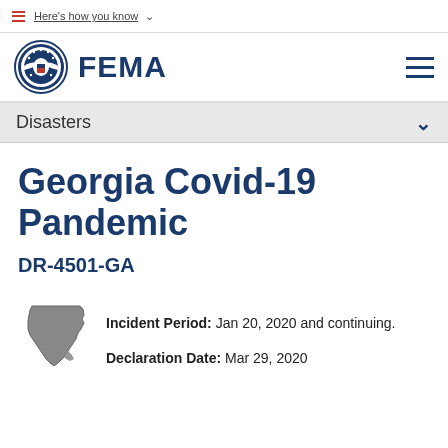Here's how you know
[Figure (logo): FEMA / DHS logo with eagle seal and FEMA wordmark]
Disasters
Georgia Covid-19 Pandemic
DR-4501-GA
[Figure (illustration): Gray silhouette map of the state of Georgia]
Incident Period: Jan 20, 2020 and continuing.
Declaration Date: Mar 29, 2020